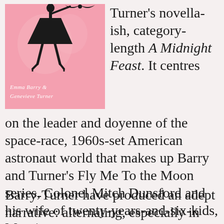[Figure (illustration): Book cover with pink background, silhouette of a woman in heels, text reading 'Emma Barry & Genevieve Turner']
Turner's novella-ish, category-length A Midnight Feast. It centres on the leader and doyenne of the space-race, 1960s-set American astronaut world that makes up Barry and Turner's Fly Me To the Moon series, Colonel Mitch Dunsford and his wife of twenty-years-and-six-kids, Margie.
Barry-Turner have produced an adept narrative: alternating, especially in the first half, between Mitch and Margie's